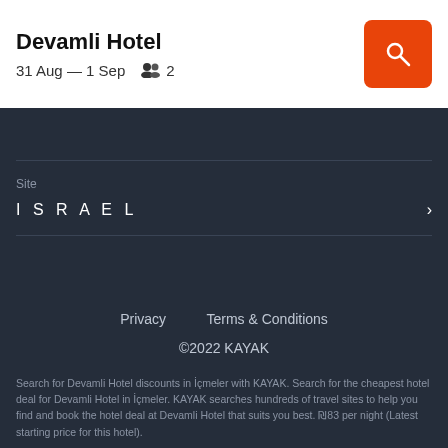Devamli Hotel
31 Aug — 1 Sep   2
Site
ISRAEL
Privacy   Terms & Conditions
©2022 KAYAK
Search for Devamli Hotel discounts in İçmeler with KAYAK. Search for the cheapest hotel deal for Devamli Hotel in İçmeler. KAYAK searches hundreds of travel sites to help you find and book the hotel deal at Devamli Hotel that suits you best. ₪83 per night (Latest starting price for this hotel).